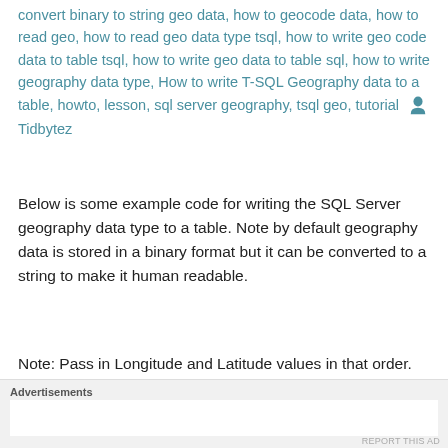convert binary to string geo data, how to geocode data, how to read geo, how to read geo data type tsql, how to write geo code data to table tsql, how to write geo data to table sql, how to write geography data type, How to write T-SQL Geography data to a table, howto, lesson, sql server geography, tsql geo, tutorial Tidbytez
Below is some example code for writing the SQL Server geography data type to a table. Note by default geography data is stored in a binary format but it can be converted to a string to make it human readable.
Note: Pass in Longitude and Latitude values in that order.
[Figure (screenshot): Code block showing SQL comment /*Demo of geo data*/ and beginning of DECLARE @g GEOGRAPHY; statement, with grey sidebar on left and white code area on right. A close (X) button appears in the lower right corner.]
Advertisements